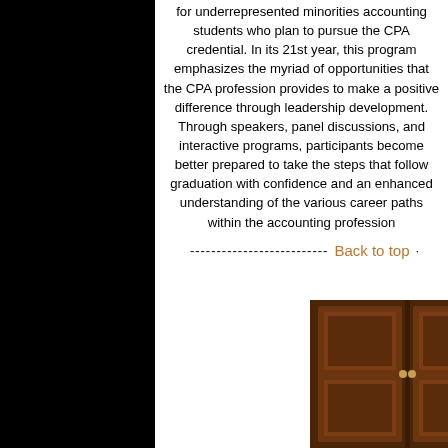for underrepresented minorities accounting students who plan to pursue the CPA credential. In its 21st year, this program emphasizes the myriad of opportunities that the CPA profession provides to make a positive difference through leadership development. Through speakers, panel discussions, and interactive programs, participants become better prepared to take the steps that follow graduation with confidence and an enhanced understanding of the various career paths within the accounting profession
-------------------------- Back to top ·
[Figure (photo): Photo showing wooden double doors (dark brown) on the left side, and a partial view of a person on the right side against a light beige/cream wall background.]